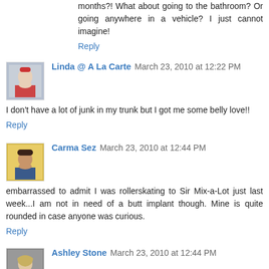months?! What about going to the bathroom? Or going anywhere in a vehicle? I just cannot imagine!
Reply
Linda @ A La Carte March 23, 2010 at 12:22 PM
I don't have a lot of junk in my trunk but I got me some belly love!!
Reply
Carma Sez March 23, 2010 at 12:44 PM
embarrassed to admit I was rollerskating to Sir Mix-a-Lot just last week...I am not in need of a butt implant though. Mine is quite rounded in case anyone was curious.
Reply
Ashley Stone March 23, 2010 at 12:44 PM
I've heard of that before and I agree, I can't imagine why...